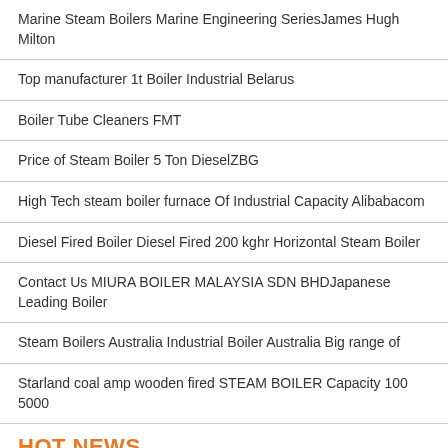Marine Steam Boilers Marine Engineering SeriesJames Hugh Milton
Top manufacturer 1t Boiler Industrial Belarus
Boiler Tube Cleaners FMT
Price of Steam Boiler 5 Ton DieselZBG
High Tech steam boiler furnace Of Industrial Capacity Alibabacom
Diesel Fired Boiler Diesel Fired 200 kghr Horizontal Steam Boiler
Contact Us MIURA BOILER MALAYSIA SDN BHDJapanese Leading Boiler
Steam Boilers Australia Industrial Boiler Australia Big range of
Starland coal amp wooden fired STEAM BOILER Capacity 100 5000
HOT NEWS